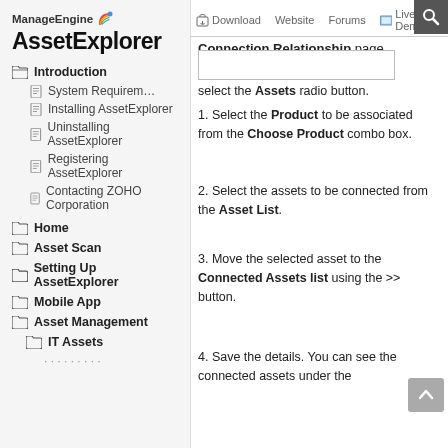[Figure (logo): ManageEngine AssetExplorer logo with rainbow arc icon]
Download  Website  Forums  Live Demo
Connection Relationship page.
Introduction
System Requirements
Installing AssetExplorer
Uninstalling AssetExplorer
Registering AssetExplorer
Contacting ZOHO Corporation
Home
Asset Scan
Setting Up AssetExplorer
Mobile App
Asset Management
IT Assets
select the Assets radio button.
1. Select the Product to be associated from the Choose Product combo box.
2. Select the assets to be connected from the Asset List.
3. Move the selected asset to the Connected Assets list using the >> button.
4. Save the details. You can see the connected assets under the